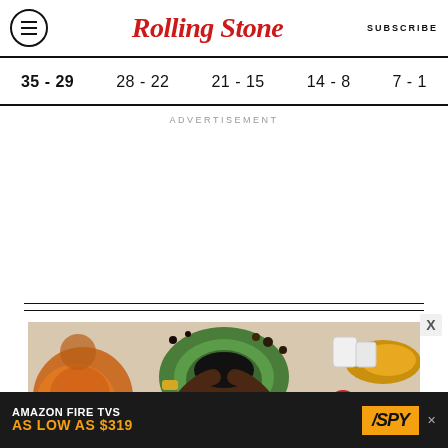Rolling Stone — SUBSCRIBE
35 - 29
28 - 22
21 - 15
14 - 8
7 - 1
ADVERTISEMENT
[Figure (photo): Overhead shot of a person lying on a table surrounded by food — vegetables, bread, fruit, dairy — wearing pink glasses and a green top, with hands behind their head. Gold watch visible on wrist.]
[Figure (infographic): Amazon Fire TVs advertisement banner: 'AMAZON FIRE TVS AS LOW AS $319' with SPY logo]